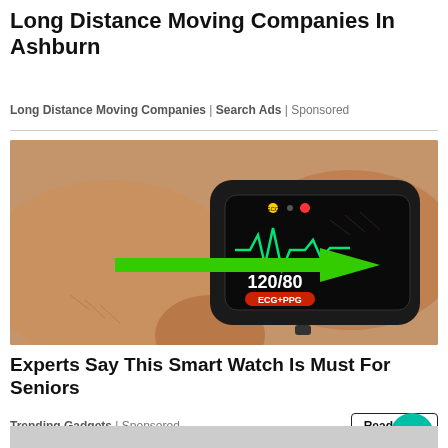Long Distance Moving Companies In Ashburn
Long Distance Moving Companies | Search Ads | Sponsored
[Figure (photo): Hands holding a fitness smartwatch displaying ECG+PPG reading of 120/80 with green ECG heartbeat line, and a bright green arrow pointing to the watch screen.]
Experts Say This Smart Watch Is Must For Seniors
Trending Gadgets | Sponsored
Read More